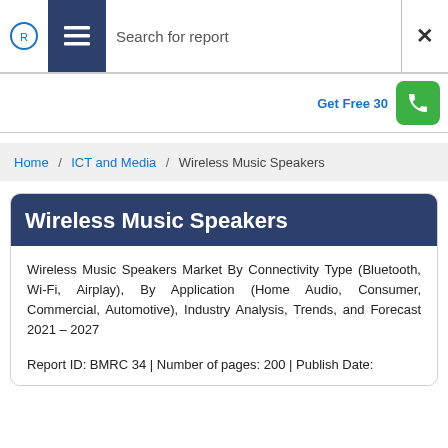Search for report
Get Free 30
Home / ICT and Media / Wireless Music Speakers
Wireless Music Speakers
Wireless Music Speakers Market By Connectivity Type (Bluetooth, Wi-Fi, Airplay), By Application (Home Audio, Consumer, Commercial, Automotive), Industry Analysis, Trends, and Forecast 2021 – 2027
Report ID: BMRC 34 | Number of pages: 200 | Publish Date: